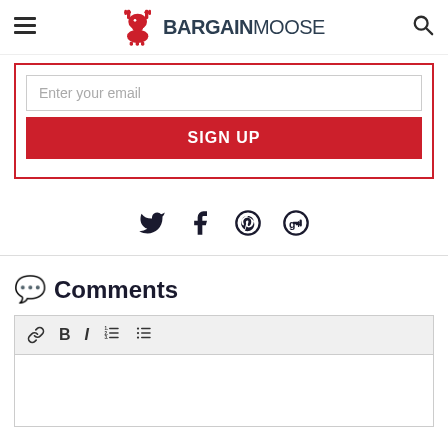BargainMoose
Enter your email
SIGN UP
[Figure (other): Social share icons: Twitter, Facebook, Pinterest, Google+]
Comments
[Figure (other): Comment text editor toolbar with link, bold, italic, ordered list, unordered list icons, and empty text area]